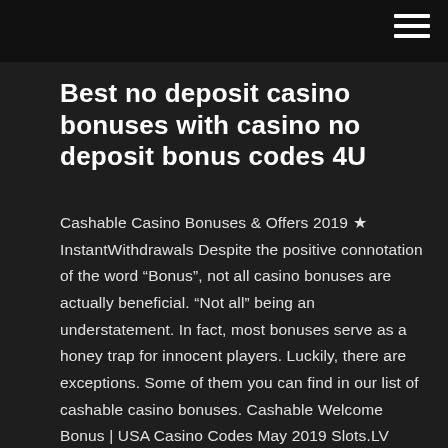Best no deposit casino bonuses with casino no deposit bonus codes 4U
Cashable Casino Bonuses & Offers 2019 ★ InstantWithdrawals Despite the positive connotation of the word “Bonus”, not all casino bonuses are actually beneficial. “Not all” being an understatement. In fact, most bonuses serve as a honey trap for innocent players. Luckily, there are exceptions. Some of them you can find in our list of cashable casino bonuses. Cashable Welcome Bonus | USA Casino Codes May 2019 Slots.LV Review & Bonus Codes. by USA Gambler | May 14, 2019 | Best US Online Casinos, Cashable Welcome Bonus, iPhone/Mobile Casinos, No Deposit Bonus. Get a $22 no deposit bonus from Slots.lv Casino with bonus code SLOTS22, then enjoy a 200%